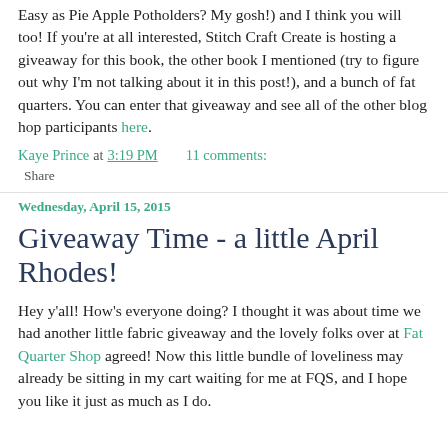Easy as Pie Apple Potholders? My gosh!) and I think you will too! If you're at all interested, Stitch Craft Create is hosting a giveaway for this book, the other book I mentioned (try to figure out why I'm not talking about it in this post!), and a bunch of fat quarters. You can enter that giveaway and see all of the other blog hop participants here.
Kaye Prince at 3:19 PM    11 comments:
Share
Wednesday, April 15, 2015
Giveaway Time - a little April Rhodes!
Hey y'all! How's everyone doing? I thought it was about time we had another little fabric giveaway and the lovely folks over at Fat Quarter Shop agreed! Now this little bundle of loveliness may already be sitting in my cart waiting for me at FQS, and I hope you like it just as much as I do.